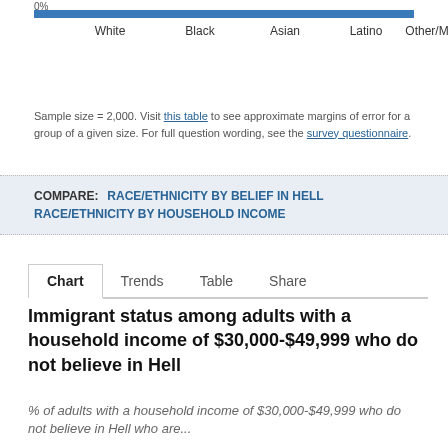[Figure (bar-chart): Partial bar chart visible at top of page showing race/ethnicity categories: White, Black, Asian, Latino, Other/Mixed with 0% label visible]
Sample size = 2,000. Visit this table to see approximate margins of error for a group of a given size. For full question wording, see the survey questionnaire.
COMPARE: RACE/ETHNICITY BY BELIEF IN HELL   RACE/ETHNICITY BY HOUSEHOLD INCOME
Chart   Trends   Table   Share
Immigrant status among adults with a household income of $30,000-$49,999 who do not believe in Hell
% of adults with a household income of $30,000-$49,999 who do not believe in Hell who are...